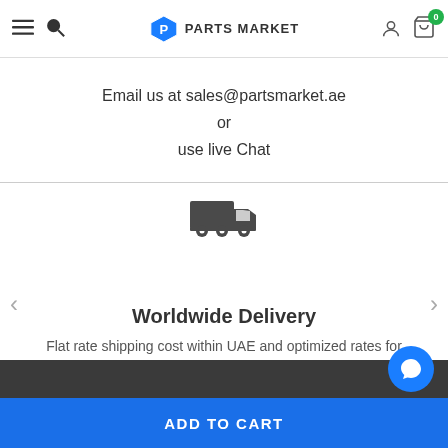Parts Market
Email us at sales@partsmarket.ae
or
use live Chat
[Figure (illustration): Delivery truck icon in dark gray]
Worldwide Delivery
Flat rate shipping cost within UAE and optimized rates for international deliveries.
[Figure (other): Add to Cart button at bottom of page]